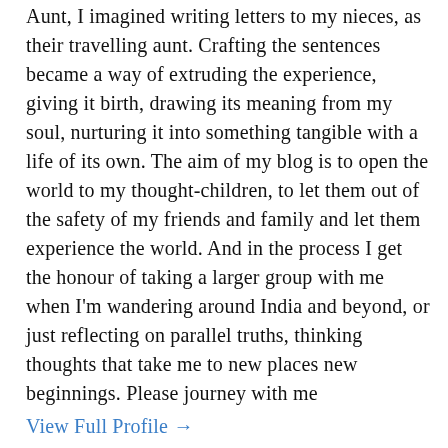Aunt, I imagined writing letters to my nieces, as their travelling aunt. Crafting the sentences became a way of extruding the experience, giving it birth, drawing its meaning from my soul, nurturing it into something tangible with a life of its own. The aim of my blog is to open the world to my thought-children, to let them out of the safety of my friends and family and let them experience the world. And in the process I get the honour of taking a larger group with me when I'm wandering around India and beyond, or just reflecting on parallel truths, thinking thoughts that take me to new places new beginnings. Please journey with me
View Full Profile →